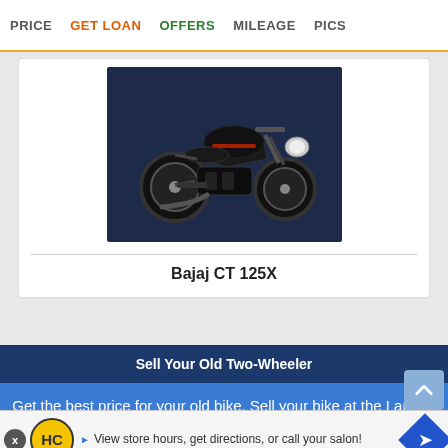PRICE  GET LOAN  OFFERS  MILEAGE  PICS
[Figure (photo): Bajaj CT 125X motorcycle, dark/black color, shown on a dark blue background]
Bajaj CT 125X
Sell Your Old Two-Wheeler
Get the best price for your old bike. Sell your bike at the Largest Used Bike Market.
[Figure (screenshot): Advertisement banner: HC logo, text 'View store hours, get directions, or call your salon!' with navigation arrow icon]